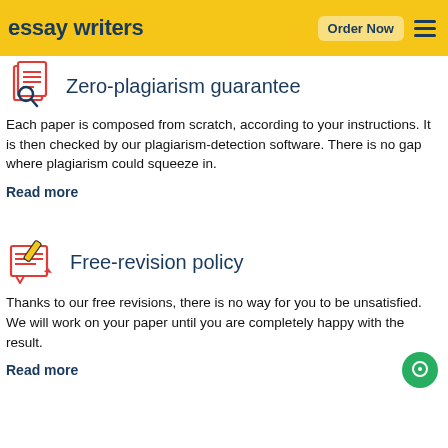essay writers | Order Now
Zero-plagiarism guarantee
Each paper is composed from scratch, according to your instructions. It is then checked by our plagiarism-detection software. There is no gap where plagiarism could squeeze in.
Read more
Free-revision policy
Thanks to our free revisions, there is no way for you to be unsatisfied. We will work on your paper until you are completely happy with the result.
Read more